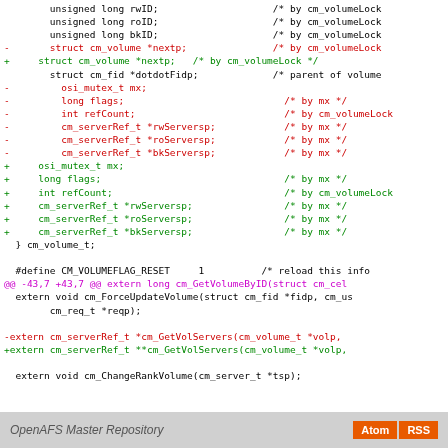[Figure (screenshot): Code diff view showing changes to cm_volume struct and related declarations in a C source file. Removed lines shown in red, added lines in green, diff header in magenta, normal code in black.]
OpenAFS Master Repository   Atom  RSS